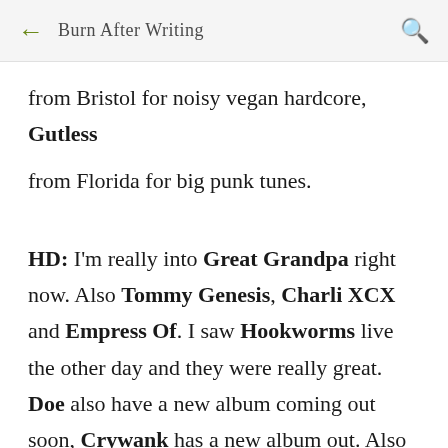← Burn After Writing 🔍
from Bristol for noisy vegan hardcore, Gutless from Florida for big punk tunes.
HD: I'm really into Great Grandpa right now. Also Tommy Genesis, Charli XCX and Empress Of. I saw Hookworms live the other day and they were really great. Doe also have a new album coming out soon, Crywank has a new album out. Also excited about new Hop Along! Th'sheridans also